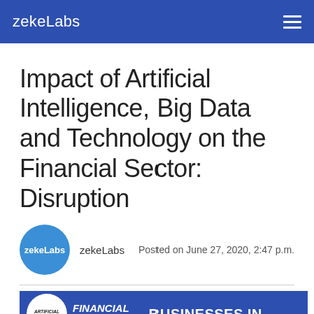zekeLabs
Impact of Artificial Intelligence, Big Data and Technology on the Financial Sector: Disruption
zekeLabs  Posted on June 27, 2020, 2:47 p.m.
[Figure (illustration): Banner image showing a blue background with a white circle containing text 'ARTIFICIAL INTELLIGENCE', text 'FINANCIAL SECTOR', and 'BUSINESSES IN' in white bold uppercase letters]